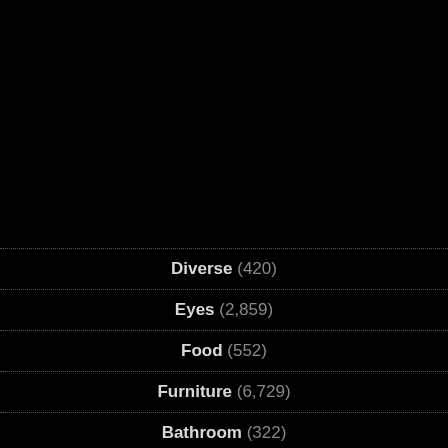Diverse (420)
Eyes (2,859)
Food (552)
Furniture (6,729)
Bathroom (322)
Bedroom (977)
Dining room (597)